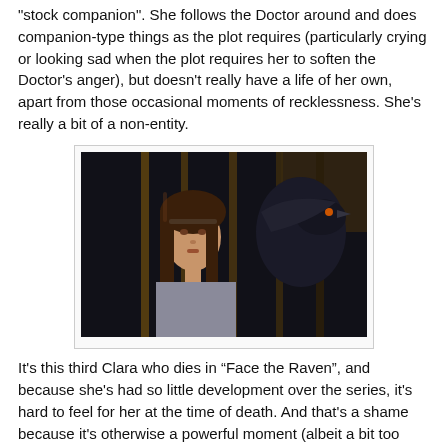"stock companion". She follows the Doctor around and does companion-type things as the plot requires (particularly crying or looking sad when the plot requires her to soften the Doctor's anger), but doesn't really have a life of her own, apart from those occasional moments of recklessness. She's really a bit of a non-entity.
[Figure (photo): A young woman with long brown hair looks through dark iron bars, with a large dark bird (raven) visible behind the bars on the right side.]
It's this third Clara who dies in “Face the Raven”, and because she's had so little development over the series, it's hard to feel for her at the time of death. And that's a shame because it's otherwise a powerful moment (albeit a bit too drawn out, which I'll get to in a bit), excellently scripted by Sarah Dollard. I'm usually one of the first to have tears streaming down my face in these kinds of moments